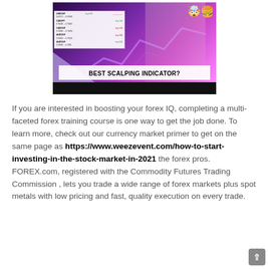[Figure (screenshot): YouTube thumbnail showing a woman with hand over mouth, trading chart panel on left with forex pairs (USDCHF, CADJPY, CADCHF, AUDCHF, AUDCHF), purple/pink gradient background with chart arrows, emoji of shocked face with hamburger top-right, text overlay 'BEST SCALPING INDICATOR?' in white/black banner at bottom, black bar at bottom of thumbnail.]
If you are interested in boosting your forex IQ, completing a multi-faceted forex training course is one way to get the job done. To learn more, check out our currency market primer to get on the same page as https://www.weezevent.com/how-to-start-investing-in-the-stock-market-in-2021 the forex pros. FOREX.com, registered with the Commodity Futures Trading Commission , lets you trade a wide range of forex markets plus spot metals with low pricing and fast, quality execution on every trade.